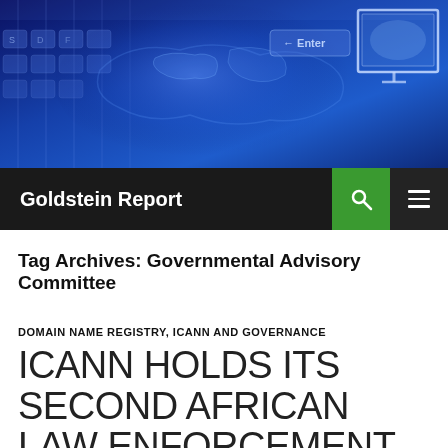[Figure (photo): Blue-toned banner with keyboard keys on left, world map globe in center, and a white monitor/computer screen icon in the top right. Small arrow and 'Enter' text visible near center-right.]
Goldstein Report
Tag Archives: Governmental Advisory Committee
DOMAIN NAME REGISTRY, ICANN AND GOVERNANCE
ICANN HOLDS ITS SECOND AFRICAN LAW ENFORCEMENT CAPACITY BUILDING WORKSHOP IN